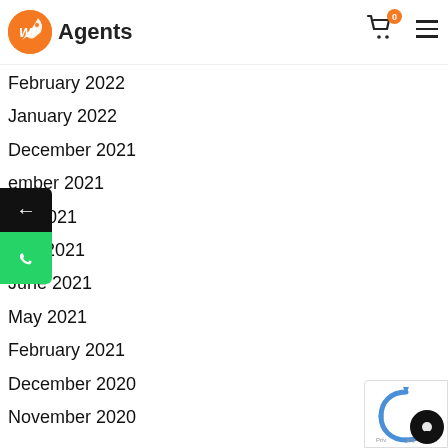[Figure (logo): WP Agents logo with orange rocket circle and bold text 'Agents']
February 2022
January 2022
December 2021
September 2021
August 2021
July 2021
June 2021
May 2021
February 2021
December 2020
November 2020